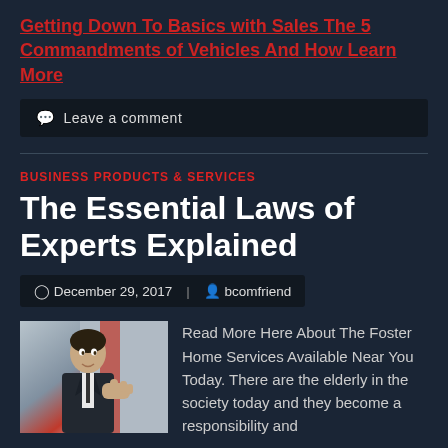Getting Down To Basics with Sales The 5 Commandments of Vehicles And How Learn More
Leave a comment
BUSINESS PRODUCTS & SERVICES
The Essential Laws of Experts Explained
December 29, 2017 | bcomfriend
[Figure (photo): A man in a suit gesturing while speaking, with a flag in the background]
Read More Here About The Foster Home Services Available Near You Today. There are the elderly in the society today and they become a responsibility and